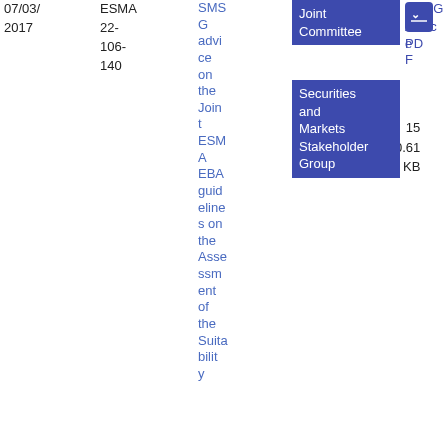| Date | Reference | Title | Joint Committee | SMSG Advice | Securities and Markets Stakeholder Group | PDF | Size |
| --- | --- | --- | --- | --- | --- | --- | --- |
| 07/03/2017 | ESMA 22-106-140 | SMSG advice on the Joint ESMA EBA guidelines on the Assessment of the Suitability... | Joint Committee | SMSG Advice | Securities and Markets Stakeholder Group | PDF | 15 0.61 KB |